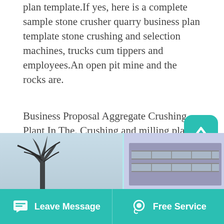plan template.If yes, here is a complete sample stone crusher quarry business plan template stone crushing and selection machines, trucks cum tippers and employees.An open pit mine and the rocks are.
Business Proposal Aggregate Crushing Plant In The. Crushing and milling plant business plan.Business plan template for stone crushing plant bussiness proposal for crushing plant oil processing plant business plan yes here is a complete sample palm oil processing plant business plan template free feasibility report applications bank loans proposal writing.
[Figure (photo): Partial view of a webpage bottom: left side shows tree branches against a light blue/purple sky background, right side shows a building facade with windows against purple sky background.]
Leave Message    Free Service